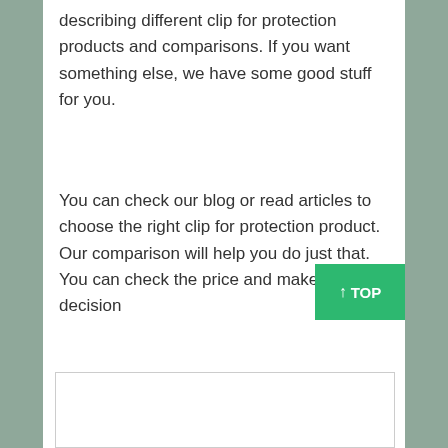describing different clip for protection products and comparisons. If you want something else, we have some good stuff for you.
You can check our blog or read articles to choose the right clip for protection product. Our comparison will help you do just that. You can check the price and make a decision
[Figure (other): Green 'TOP' button with upward arrow in bottom-right area]